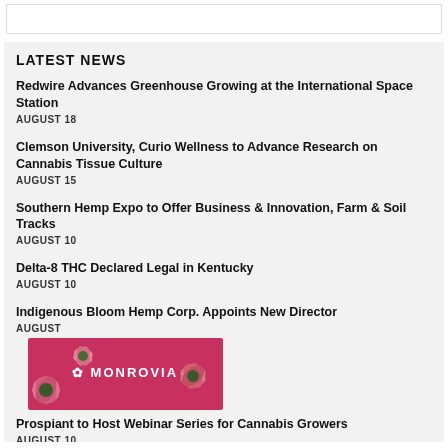LATEST NEWS
Redwire Advances Greenhouse Growing at the International Space Station
AUGUST 18
Clemson University, Curio Wellness to Advance Research on Cannabis Tissue Culture
AUGUST 15
Southern Hemp Expo to Offer Business & Innovation, Farm & Soil Tracks
AUGUST 10
Delta-8 THC Declared Legal in Kentucky
AUGUST 10
Indigenous Bloom Hemp Corp. Appoints New Director
AUGUST
[Figure (photo): Monrovia advertisement banner with pink echinacea/coneflowers and MONROVIA logo text]
Prospiant to Host Webinar Series for Cannabis Growers
AUGUST 10